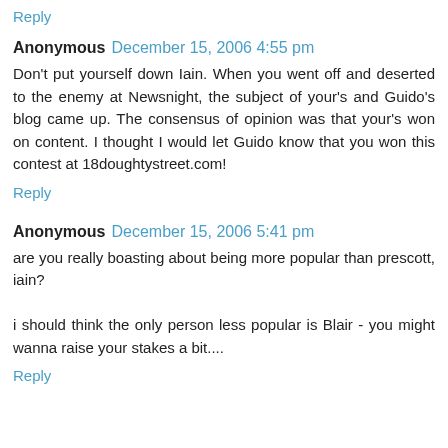Reply
Anonymous  December 15, 2006 4:55 pm
Don't put yourself down Iain. When you went off and deserted to the enemy at Newsnight, the subject of your's and Guido's blog came up. The consensus of opinion was that your's won on content. I thought I would let Guido know that you won this contest at 18doughtystreet.com!
Reply
Anonymous  December 15, 2006 5:41 pm
are you really boasting about being more popular than prescott, iain?

i should think the only person less popular is Blair - you might wanna raise your stakes a bit....
Reply